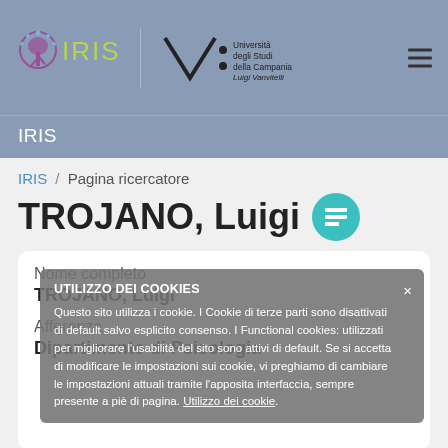IRIS | Università degli Studi della Campania Luigi Vanvitelli
IRIS
IRIS / Pagina ricercatore
TROJANO, Luigi
Nome completo
TROJANO, Luigi
Afferenza
Dipartimento di Psicologia
UTILIZZO DEI COOKIES
Questo sito utilizza i cookie. I Cookie di terze parti sono disattivati di default salvo esplicito consenso. I Functional cookies: utilizzati per migliorare l'usabilità del sito sono attivi di default. Se si accetta di modificare le impostazioni sui cookie, vi preghiamo di cambiare le impostazioni attuali tramite l'apposita interfaccia, sempre presente a piè di pagina. Utilizzo dei cookie.